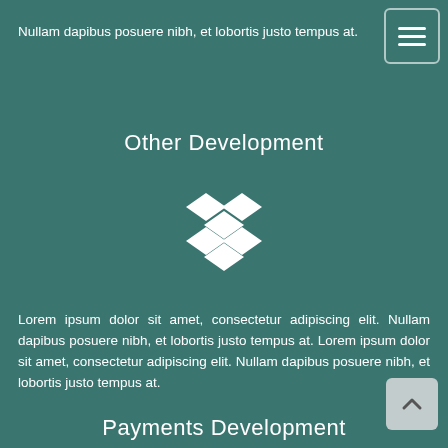Nullam dapibus posuere nibh, et lobortis justo tempus at.
Other Development
[Figure (logo): Dropbox logo icon in white — diamond/rhombus pattern arranged like the Dropbox logo with an open box shape]
Lorem ipsum dolor sit amet, consectetur adipiscing elit. Nullam dapibus posuere nibh, et lobortis justo tempus at. Lorem ipsum dolor sit amet, consectetur adipiscing elit. Nullam dapibus posuere nibh, et lobortis justo tempus at.
Payments Development